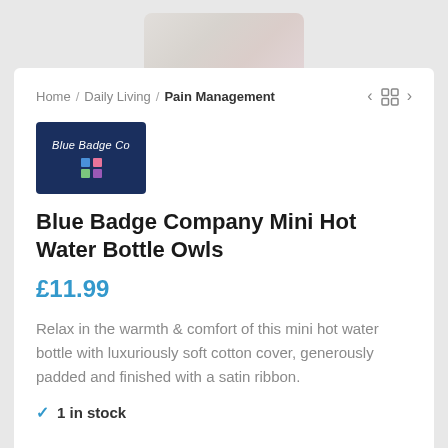[Figure (photo): Partial product image of an owl-patterned hot water bottle cover, visible at the top of the page against a grey background]
Home / Daily Living / Pain Management
[Figure (logo): Blue Badge Co logo — dark navy blue rectangle with company name in white italic text and a small four-square coloured icon below]
Blue Badge Company Mini Hot Water Bottle Owls
£11.99
Relax in the warmth & comfort of this mini hot water bottle with luxuriously soft cotton cover, generously padded and finished with a satin ribbon.
✓ 1 in stock